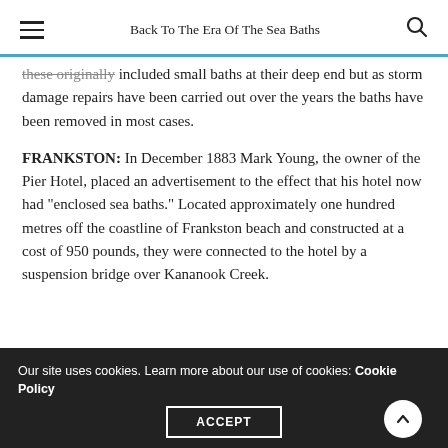Back To The Era Of The Sea Baths
these originally included small baths at their deep end but as storm damage repairs have been carried out over the years the baths have been removed in most cases.
FRANKSTON: In December 1883 Mark Young, the owner of the Pier Hotel, placed an advertisement to the effect that his hotel now had “enclosed sea baths.” Located approximately one hundred metres off the coastline of Frankston beach and constructed at a cost of 950 pounds, they were connected to the hotel by a suspension bridge over Kananook Creek.
Our site uses cookies. Learn more about our use of cookies: Cookie Policy